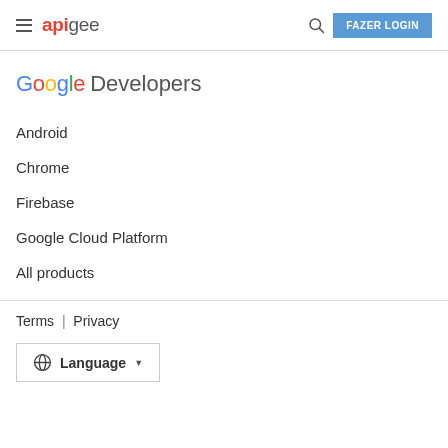apigee — FAZER LOGIN
[Figure (logo): Google Developers logo with colored Google text and gray Developers text]
Android
Chrome
Firebase
Google Cloud Platform
All products
Terms | Privacy
Language ▼